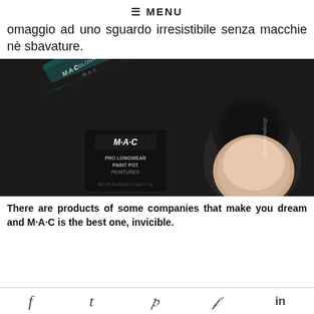☰ MENU
omaggio ad uno sguardo irresistibile senza macchie nè sbavature.
[Figure (photo): MAC cosmetics products: an eyeliner pencil and box, and a MAC Pro Longwear Paint Pot, arranged on a black textured surface. Watermark 'diemmemakeup' visible.]
There are products of some companies that make you dream and M·A·C is the best one, invicible.
f  t  p  (twitter bird)  in